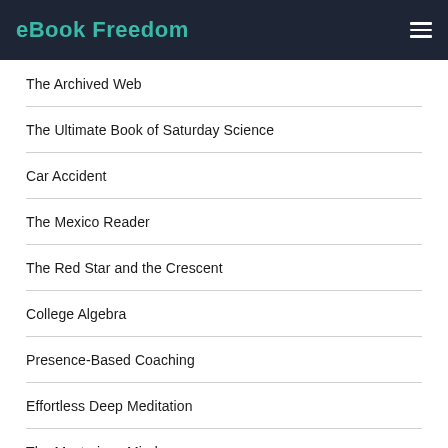eBook Freedom
The Archived Web
The Ultimate Book of Saturday Science
Car Accident
The Mexico Reader
The Red Star and the Crescent
College Algebra
Presence-Based Coaching
Effortless Deep Meditation
The Mysterious Mind